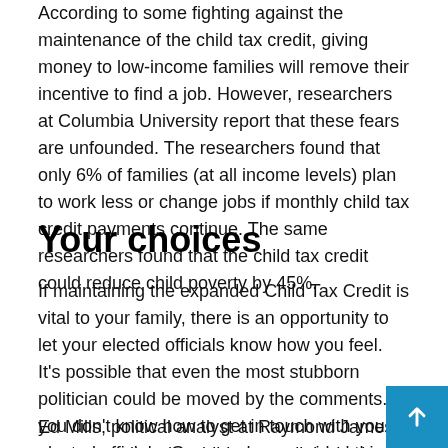According to some fighting against the maintenance of the child tax credit, giving money to low-income families will remove their incentive to find a job. However, researchers at Columbia University report that these fears are unfounded. The researchers found that only 6% of families (at all income levels) plan to work less or change jobs if monthly child tax credit payments continue. The same researchers found that the child tax credit could reduce child poverty by 45%.
Your choices
If maintaining the expanded Child Tax Credit is vital to your family, there is an opportunity to let your elected officials know how you feel. It's possible that even the most stubborn politician could be moved by the comments. If you don't know how to get in touch with your elected officials, Gov.com has provided this neat and easy to use tool.
Ed Mills, political analyst at Raymond James, says extending the child tax credit is the least popular part of BBBA right now